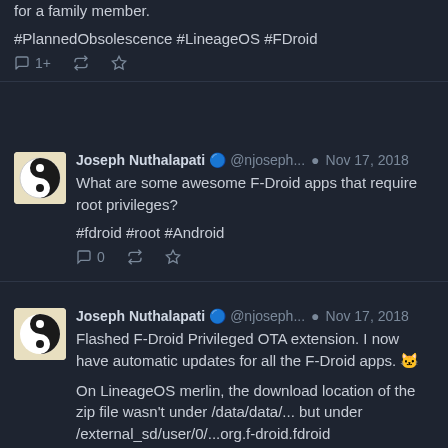for a family member.
#PlannedObsolescence #LineageOS #FDroid
Joseph Nuthalapati @njoseph... Nov 17, 2018
What are some awesome F-Droid apps that require root privileges?
#fdroid #root #Android
Joseph Nuthalapati @njoseph... Nov 17, 2018
Flashed F-Droid Privileged OTA extension. I now have automatic updates for all the F-Droid apps. 😸

On LineageOS merlin, the download location of the zip file wasn't under /data/data/... but under /external_sd/user/0/...org.f-droid.fdroid